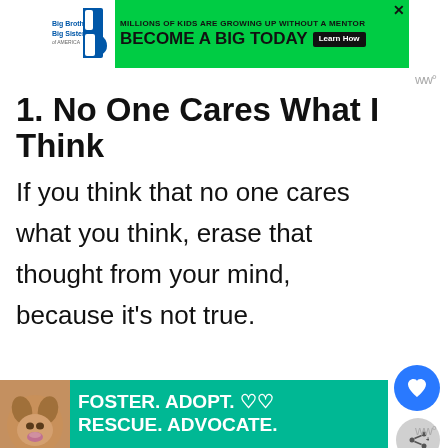[Figure (screenshot): Top advertisement banner for Big Brothers Big Sisters: green background with logo, text 'MILLIONS OF KIDS ARE GROWING UP WITHOUT A MENTOR' and 'BECOME A BIG TODAY' with 'Learn How' button]
ww°
1. No One Cares What I Think
If you think that no one cares what you think, erase that thought from your mind, because it's not true.
There will be people that have no im
[Figure (screenshot): Bottom advertisement banner: teal background with dog image, text 'FOSTER. ADOPT. ♡♡' and 'RESCUE. ADVOCATE.']